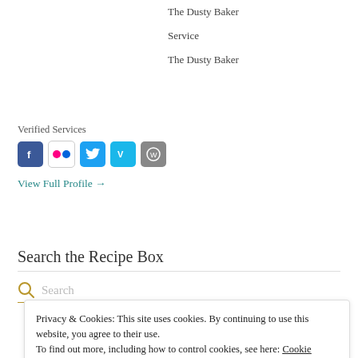The Dusty Baker
Service
The Dusty Baker
Verified Services
[Figure (other): Row of social media icons: Facebook, Flickr, Twitter, Vimeo, WordPress]
View Full Profile →
Search the Recipe Box
Search
Privacy & Cookies: This site uses cookies. By continuing to use this website, you agree to their use.
To find out more, including how to control cookies, see here: Cookie Policy
Close and accept